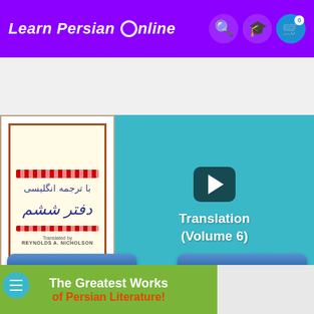Learn Persian Online
[Figure (screenshot): Book cover with Persian text and calligraphy alongside a video thumbnail showing 'Translation (Volume 6)' on a teal background with play button and www.LearnPersianOnline.com URL]
Previous
Next
Special Offers
[Figure (photo): Promotional banner reading 'The Greatest Works of Persian Literature!']